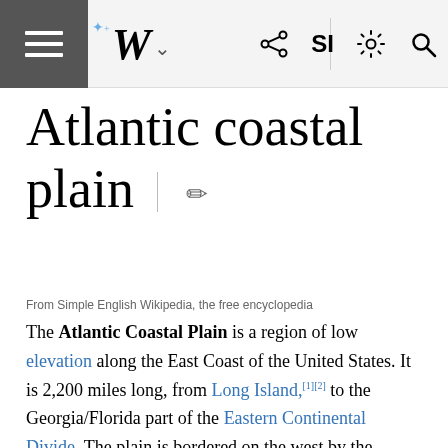Wikipedia mobile navigation bar with hamburger menu, Wikipedia W logo, share, SI, settings, and search icons
Atlantic coastal plain
From Simple English Wikipedia, the free encyclopedia
The Atlantic Coastal Plain is a region of low elevation along the East Coast of the United States. It is 2,200 miles long, from Long Island,[1][2] to the Georgia/Florida part of the Eastern Continental Divide. The plain is bordered on the west by the Piedmont plateau, which is a flat area bordered by the main Appalachian mountains, and where the plateau